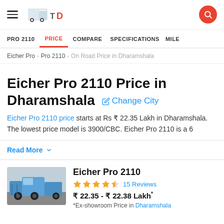Hamburger menu | TrucksDekho logo | Search button
PRO 2110 | PRICE | COMPARE | SPECIFICATIONS | MILE
Eicher Pro > Pro 2110 > On Road Price in Dharamshala
Eicher Pro 2110 Price in Dharamshala
Eicher Pro 2110 price starts at Rs ₹ 22.35 Lakh in Dharamshala. The lowest price model is 3900/CBC. Eicher Pro 2110 is a 6
Read More ∨
Eicher Pro 2110
★★★★☆ 15 Reviews
₹ 22.35 - ₹ 22.38 Lakh*
*Ex-showroom Price in Dharamshala